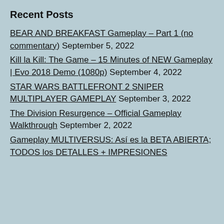Recent Posts
BEAR AND BREAKFAST Gameplay – Part 1 (no commentary) September 5, 2022
Kill la Kill: The Game – 15 Minutes of NEW Gameplay | Evo 2018 Demo (1080p) September 4, 2022
STAR WARS BATTLEFRONT 2 SNIPER MULTIPLAYER GAMEPLAY September 3, 2022
The Division Resurgence – Official Gameplay Walkthrough September 2, 2022
Gameplay MULTIVERSUS: Así es la BETA ABIERTA; TODOS los DETALLES + IMPRESIONES